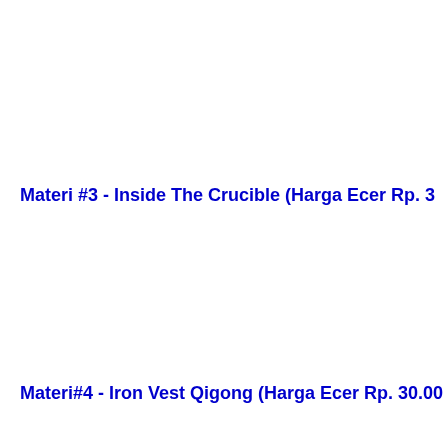Materi #3 - Inside The Crucible (Harga Ecer Rp. 30...
Materi#4 - Iron Vest Qigong (Harga Ecer Rp. 30.00...